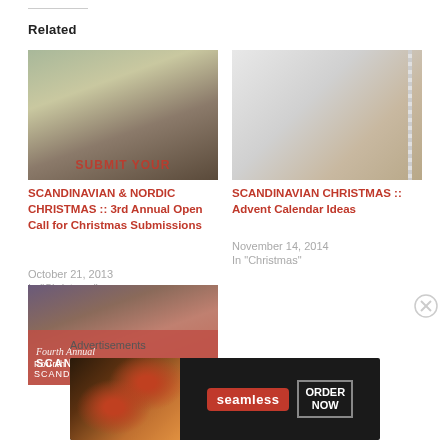Related
[Figure (photo): Painting of a woman in traditional dress standing on a stool, with text overlay reading SUBMIT YOUR]
SCANDINAVIAN & NORDIC CHRISTMAS :: 3rd Annual Open Call for Christmas Submissions
October 21, 2013
In "Christmas"
[Figure (photo): Minimalist photo of a spiral notebook and round object on white background]
SCANDINAVIAN CHRISTMAS :: Advent Calendar Ideas
November 14, 2014
In "Christmas"
[Figure (photo): Painting with Fourth Annual SCANDINAVIAN text overlay on red background]
Advertisements
[Figure (photo): Seamless food delivery advertisement banner with pizza image, seamless logo and ORDER NOW button]